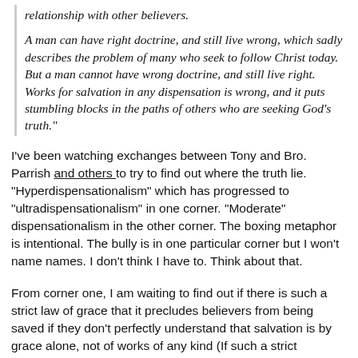relationship with other believers.

A man can have right doctrine, and still live wrong, which sadly describes the problem of many who seek to follow Christ today. But a man cannot have wrong doctrine, and still live right. Works for salvation in any dispensation is wrong, and it puts stumbling blocks in the paths of others who are seeking God's truth."
I've been watching exchanges between Tony and Bro. Parrish and others to try to find out where the truth lie. "Hyperdispensationalism" which has progressed to "ultradispensationalism" in one corner. "Moderate" dispensationalism in the other corner. The boxing metaphor is intentional. The bully is in one particular corner but I won't name names. I don't think I have to. Think about that.
From corner one, I am waiting to find out if there is such a strict law of grace that it precludes believers from being saved if they don't perfectly understand that salvation is by grace alone, not of works of any kind (If such a strict standard applies then I was not saved for years after I thought I was). I don't know the answer. I will find out, God willing. What about the following questions Win...